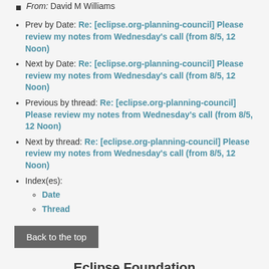From: David M Williams
Prev by Date: Re: [eclipse.org-planning-council] Please review my notes from Wednesday's call (from 8/5, 12 Noon)
Next by Date: Re: [eclipse.org-planning-council] Please review my notes from Wednesday's call (from 8/5, 12 Noon)
Previous by thread: Re: [eclipse.org-planning-council] Please review my notes from Wednesday's call (from 8/5, 12 Noon)
Next by thread: Re: [eclipse.org-planning-council] Please review my notes from Wednesday's call (from 8/5, 12 Noon)
Index(es): Date, Thread
Back to the top
Eclipse Foundation
About Us